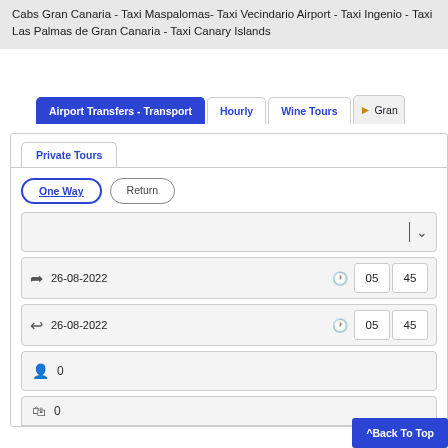Cabs Gran Canaria - Taxi Maspalomas- Taxi Vecindario Airport - Taxi Ingenio - Taxi Las Palmas de Gran Canaria - Taxi Canary Islands
Airport Transfers - Transport
Hourly
Wine Tours
Gran
Private Tours
One Way
Return
26-08-2022  05  45
26-08-2022  05  45
0
0
^Back To Top